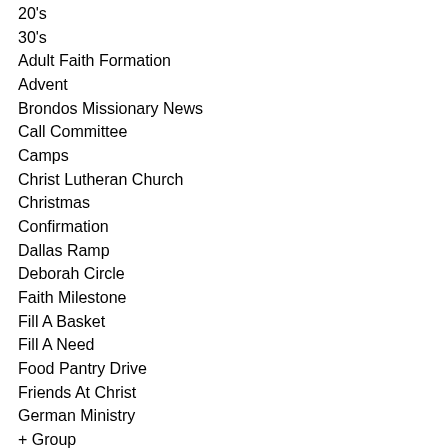20's
30's
Adult Faith Formation
Advent
Brondos Missionary News
Call Committee
Camps
Christ Lutheran Church
Christmas
Confirmation
Dallas Ramp
Deborah Circle
Faith Milestone
Fill A Basket
Fill A Need
Food Pantry Drive
Friends At Christ
German Ministry
+ Group
Halloween
Holy Week